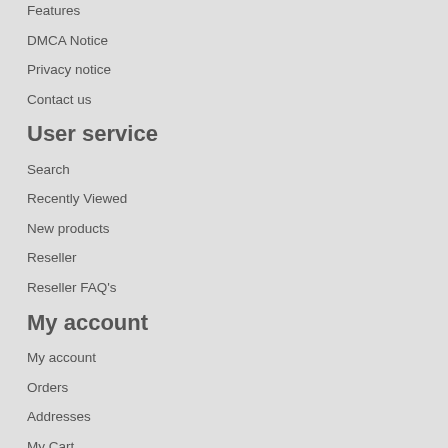Features
DMCA Notice
Privacy notice
Contact us
User service
Search
Recently Viewed
New products
Reseller
Reseller FAQ's
My account
My account
Orders
Addresses
My Cart